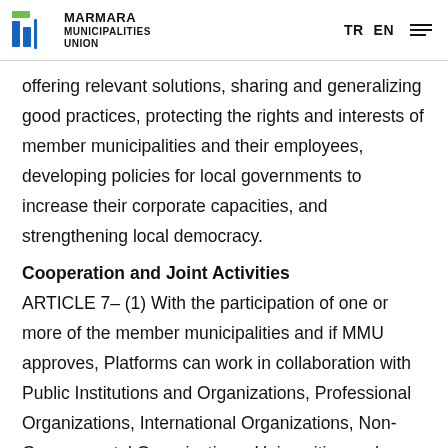MARMARA MUNICIPALITIES UNION | TR EN
offering relevant solutions, sharing and generalizing good practices, protecting the rights and interests of member municipalities and their employees, developing policies for local governments to increase their corporate capacities, and strengthening local democracy.
Cooperation and Joint Activities
ARTICLE 7– (1) With the participation of one or more of the member municipalities and if MMU approves, Platforms can work in collaboration with Public Institutions and Organizations, Professional Organizations, International Organizations, Non-Governmental Organizations, Universities and Authorities, Employers and Industrial